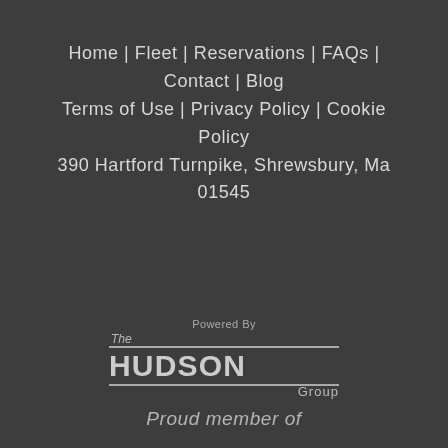Home | Fleet | Reservations | FAQs | Contact | Blog
Terms of Use | Privacy Policy | Cookie Policy
390 Hartford Turnpike, Shrewsbury, Ma 01545
[Figure (logo): The Hudson Group logo with 'Powered By' text above]
Proud member of
[Figure (logo): GO group logo — green rounded arrow shape with 'GO' text in white]